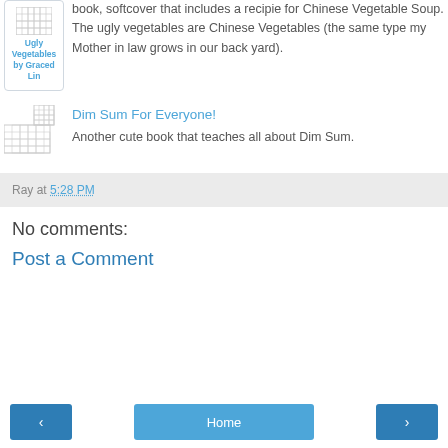[Figure (illustration): Book cover placeholder for Ugly Vegetables by Graced Lin with grid image placeholder]
book, softcover that includes a recipie for Chinese Vegetable Soup. The ugly vegetables are Chinese Vegetables (the same type my Mother in law grows in our back yard).
[Figure (illustration): Book cover placeholder for Dim Sum For Everyone with grid image placeholder]
Dim Sum For Everyone!
Another cute book that teaches all about Dim Sum.
Ray at 5:28 PM
No comments:
Post a Comment
‹  Home  ›